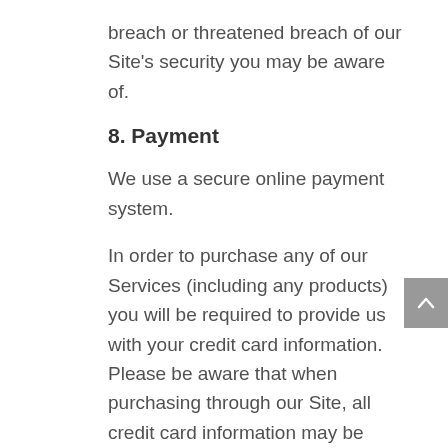breach or threatened breach of our Site's security you may be aware of.
8. Payment
We use a secure online payment system.
In order to purchase any of our Services (including any products) you will be required to provide us with your credit card information. Please be aware that when purchasing through our Site, all credit card information may be shared with our third party payment processors such as PayPal. By purchasing through our Site, you agree that we may charge you the price listed at the checkout screen, and that any payments made via credit